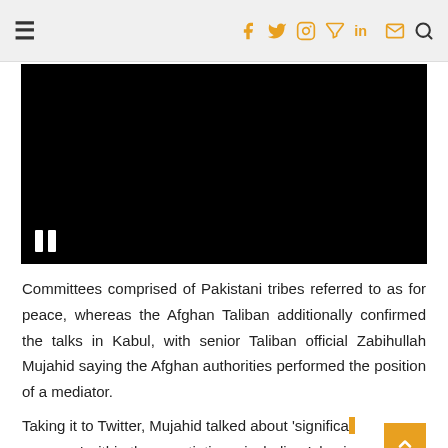≡  f  y  ⊙  ℗  in  ✉  🔍
[Figure (screenshot): Black video player area with a white pause icon (two vertical bars) in the lower left corner.]
Committees comprised of Pakistani tribes referred to as for peace, whereas the Afghan Taliban additionally confirmed the talks in Kabul, with senior Taliban official Zabihullah Mujahid saying the Afghan authorities performed the position of a mediator.
Taking it to Twitter, Mujahid talked about 'significa progress' within the negotiations, including Islamic